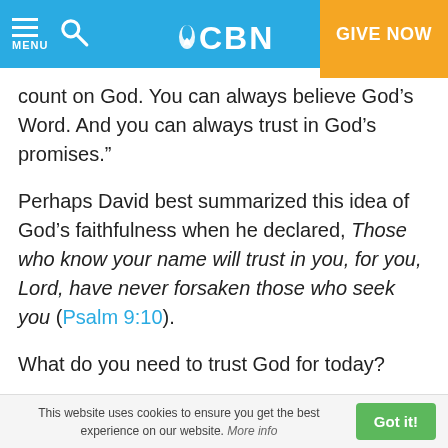CBN — MENU | Search | GIVE NOW
count on God. You can always believe God’s Word. And you can always trust in God’s promises.”
Perhaps David best summarized this idea of God’s faithfulness when he declared, Those who know your name will trust in you, for you, Lord, have never forsaken those who seek you (Psalm 9:10).
What do you need to trust God for today?
FEATURED BOOK
This website uses cookies to ensure you get the best experience on our website. More info  Got it!